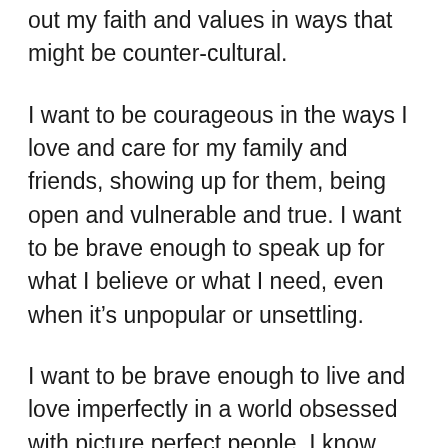out my faith and values in ways that might be counter-cultural.
I want to be courageous in the ways I love and care for my family and friends, showing up for them, being open and vulnerable and true. I want to be brave enough to speak up for what I believe or what I need, even when it’s unpopular or unsettling.
I want to be brave enough to live and love imperfectly in a world obsessed with picture perfect people. I know there are times that I’ll fail and give in to fear, but I’m using this space, this post to make a public promise to myself that I’ll keep pushing and trying to be courageous, and be gentle with myself when I’m not.
Being courageous means working to silence the tiny voice inside my head that says, “You are not enough,” and replace it with a message of love, a message that says